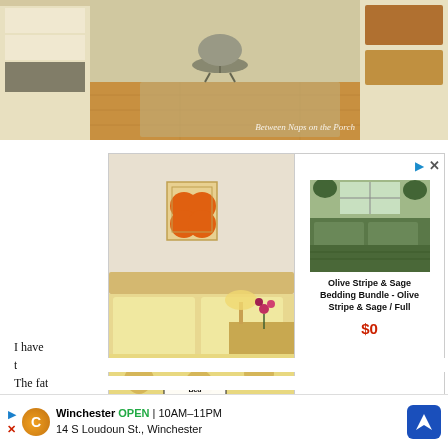[Figure (photo): Interior room photo showing a home office/storage area with wooden floors, shelving units, a desk chair, and baskets. Watermark reads 'Between Naps on the Porch' in bottom right.]
[Figure (photo): Advertisement: Left side shows a bed with yellow/golden bedding and a Bed Threads logo badge. Right side shows an olive green bedded room photo. Product title: 'Olive Stripe & Sage Bedding Bundle - Olive Stripe & Sage / Full'. Price: $0. Button: 'SHOP NOW >']
I have t... tains. The fat...
[Figure (photo): Bottom ad bar: Winchester OPEN 10AM-11PM, 14 S Loudoun St., Winchester. Navigation icons and map arrow.]